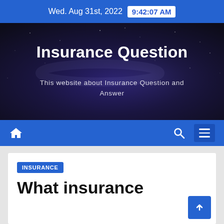Wed. Aug 31st, 2022  9:42:07 AM
Insurance Question
This website about Insurance Question and Answer
INSURANCE
What insurance coverage comes you